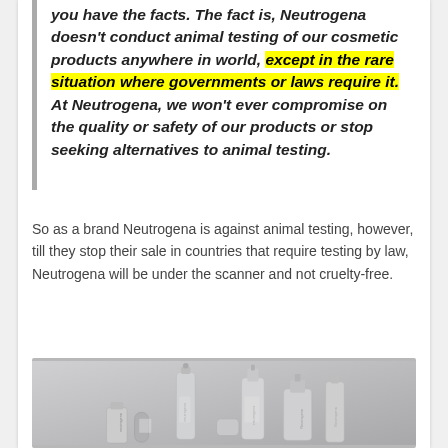you have the facts. The fact is, Neutrogena doesn't conduct animal testing of our cosmetic products anywhere in world, except in the rare situation where governments or laws require it. At Neutrogena, we won't ever compromise on the quality or safety of our products or stop seeking alternatives to animal testing.
So as a brand Neutrogena is against animal testing, however, till they stop their sale in countries that require testing by law, Neutrogena will be under the scanner and not cruelty-free.
[Figure (photo): A group of Neutrogena skincare product bottles and tubes arranged together on a gray background.]